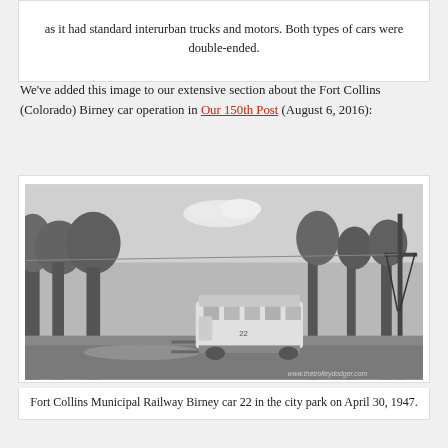as it had standard interurban trucks and motors. Both types of cars were double-ended.
We've added this image to our extensive section about the Fort Collins (Colorado) Birney car operation in Our 150th Post (August 6, 2016):
[Figure (photo): Black and white photograph of Fort Collins Municipal Railway Birney car 22 in the city park on April 30, 1947. A streetcar is seen on tracks surrounded by bare trees and a utility pole, with a watermark reading www.thetrolleydodger.com]
Fort Collins Municipal Railway Birney car 22 in the city park on April 30, 1947.